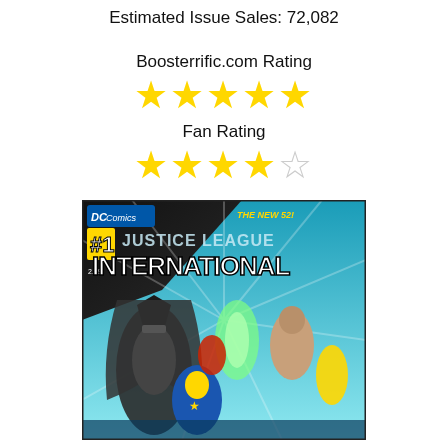Estimated Issue Sales: 72,082
Boosterrific.com Rating
[Figure (infographic): 5 gold stars representing Boosterrific.com Rating]
Fan Rating
[Figure (infographic): 4.5 stars representing Fan Rating (4 gold, 1 empty outline star)]
[Figure (photo): Justice League International #1 comic book cover (DC Comics, The New 52!) showing Batman and several superheroes including Booster Gold]